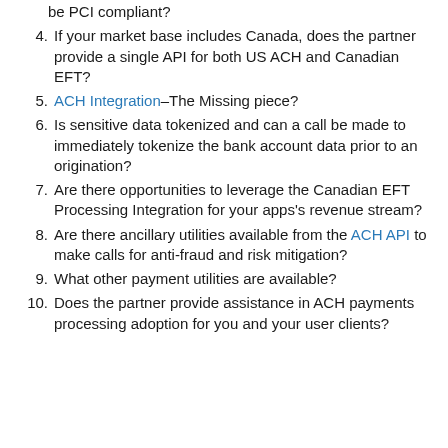be PCI compliant?
4. If your market base includes Canada, does the partner provide a single API for both US ACH and Canadian EFT?
5. ACH Integration–The Missing piece?
6. Is sensitive data tokenized and can a call be made to immediately tokenize the bank account data prior to an origination?
7. Are there opportunities to leverage the Canadian EFT Processing Integration for your apps's revenue stream?
8. Are there ancillary utilities available from the ACH API to make calls for anti-fraud and risk mitigation?
9. What other payment utilities are available?
10. Does the partner provide assistance in ACH payments processing adoption for you and your user clients?